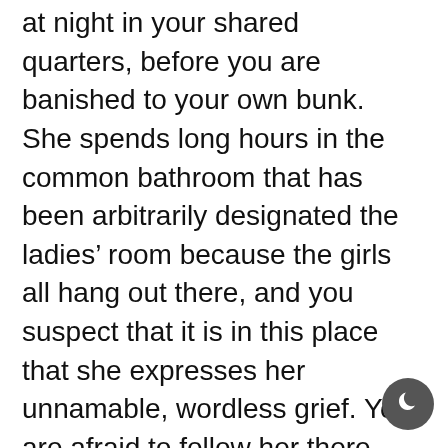at night in your shared quarters, before you are banished to your own bunk. She spends long hours in the common bathroom that has been arbitrarily designated the ladies' room because the girls all hang out there, and you suspect that it is in this place that she expresses her unnamable, wordless grief. You are afraid to follow her there, and therefore this sorrow is an aspect of her that she keeps to herself, and you know nothing of it except that it is there. You've grown to accept its existence, confined as it is to the walls of her private spaces. But now it rears its head in the light of the situation room. Why? She is soon to face her greatest enemy. Should she not be ecstatic at the culmination of her purpose? The destiny she was chosen for? The reason you were made for her?